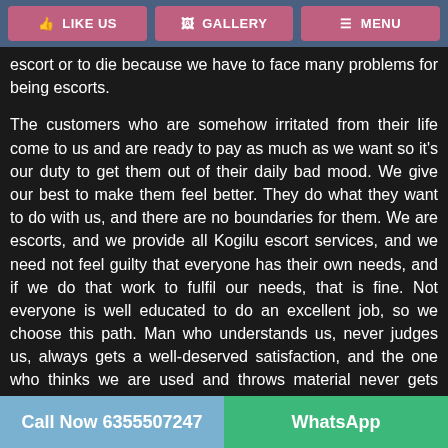LIKE US | GALLERY | MENU
escort or to die because we have to face many problems for being escorts.
The customers who are somehow irritated from their life come to us and are ready to pay as much as we want so it's our duty to get them out of their daily bad mood. We give our best to make them feel better. They do what they want to do with us, and there are no boundaries for them. We are escorts, and we provide all Kogilu escort services, and we need not feel guilty that everyone has their own needs, and if we do that work to fulfil our needs, that is fine. Not everyone is well educated to do an excellent job, so we choose this path. Man who understands us, never judges us, always gets a well-deserved satisfaction, and the one who thinks we are used and throws material never gets satisfied by us.
Call Now 6355507247 | WhatsApp